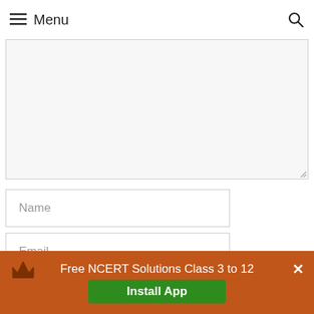Menu
[Figure (screenshot): Textarea input field (comment box), partially shown, with resize handle at bottom right]
Name
Email
Website
Save my name, email, and website in this browser
Free NCERT Solutions Class 3 to 12
Install App